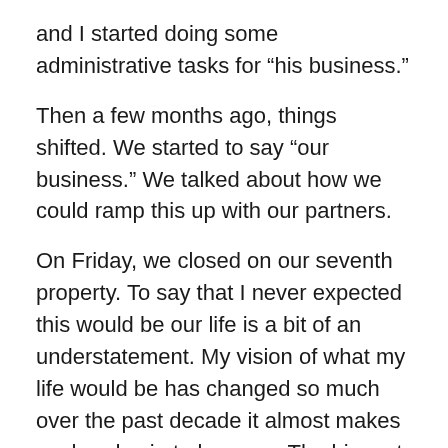and I started doing some administrative tasks for “his business.”
Then a few months ago, things shifted. We started to say “our business.” We talked about how we could ramp this up with our partners.
On Friday, we closed on our seventh property. To say that I never expected this would be our life is a bit of an understatement. My vision of what my life would be has changed so much over the past decade it almost makes my head spin to keep up. The biggest takeaway I’ve had is that it’s completely ok to change your work dreams… even every few months.
Because of us ramping up our business, we knew that our volume would increase across the board. From marketing